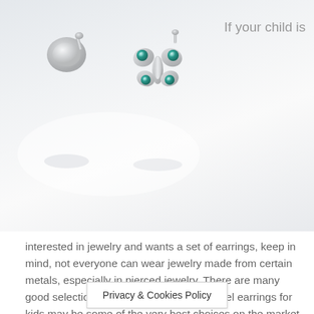[Figure (photo): Photo of two silver butterfly stud earrings with teal/green gemstones on a light gray-white background. One earring shows the back post, and one shows the front butterfly design with green crystal embellishments.]
If your child is interested in jewelry and wants a set of earrings, keep in mind, not everyone can wear jewelry made from certain metals, especially in pierced jewelry. There are many good selections available, but surgical steel earrings for kids may be some of the very best choices on the market today, and here are some reasons why.
Many types of jewelry use what is known as “surgical stainless steel”, because it is a versatile earring material. For example, it will go well with everyday clothing and also can be used for dress o[...] ooks good
Privacy & Cookies Policy